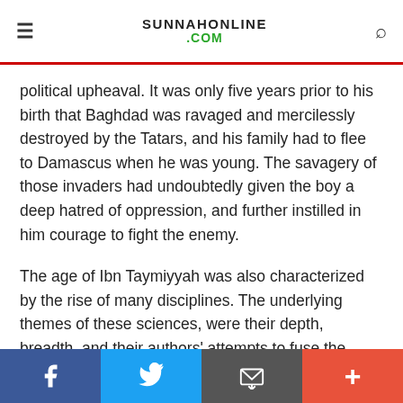SUNNAHONLINE .COM
political upheaval. It was only five years prior to his birth that Baghdad was ravaged and mercilessly destroyed by the Tatars, and his family had to flee to Damascus when he was young. The savagery of those invaders had undoubtedly given the boy a deep hatred of oppression, and further instilled in him courage to fight the enemy.
The age of Ibn Taymiyyah was also characterized by the rise of many disciplines. The underlying themes of these sciences, were their depth, breadth, and their authors' attempts to fuse the rising sciences together. Indeed, many of the books resembled encyclopaedias. Ibn Taymiyyah had benefited from such an environment, but
Facebook | Twitter | Share | +